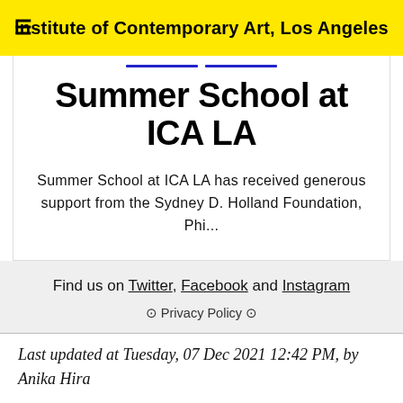Institute of Contemporary Art, Los Angeles
Summer School at ICA LA
Summer School at ICA LA has received generous support from the Sydney D. Holland Foundation, Phi...
Find us on Twitter, Facebook and Instagram
⊙ Privacy Policy ⊙
Last updated at Tuesday, 07 Dec 2021 12:42 PM, by Anika Hira